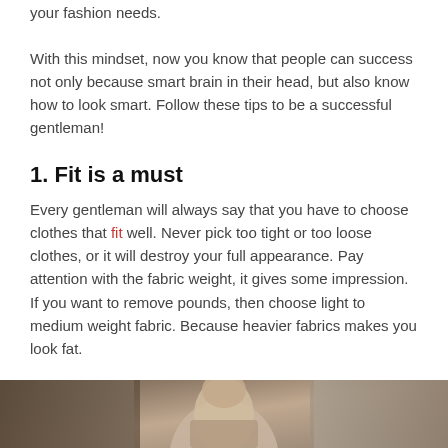your fashion needs.
With this mindset, now you know that people can success not only because smart brain in their head, but also know how to look smart. Follow these tips to be a successful gentleman!
1.  Fit is a must
Every gentleman will always say that you have to choose clothes that fit well. Never pick too tight or too loose clothes, or it will destroy your full appearance. Pay attention with the fabric weight, it gives some impression. If you want to remove pounds, then choose light to medium weight fabric. Because heavier fabrics makes you look fat.
[Figure (photo): Partial photo of a person, cropped at bottom of page, showing upper torso/head area in muted tones]